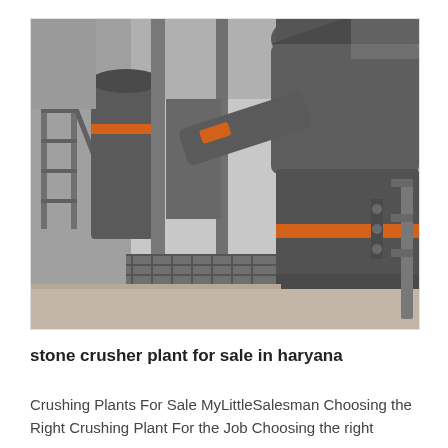[Figure (photo): Industrial stone crushing plant machinery showing large dark grey cylindrical cone crushers with orange accent bands, pipes, metal frames, walkways and grating, taken in an outdoor industrial setting.]
stone crusher plant for sale in haryana
Crushing Plants For Sale MyLittleSalesman Choosing the Right Crushing Plant For the Job Choosing the right